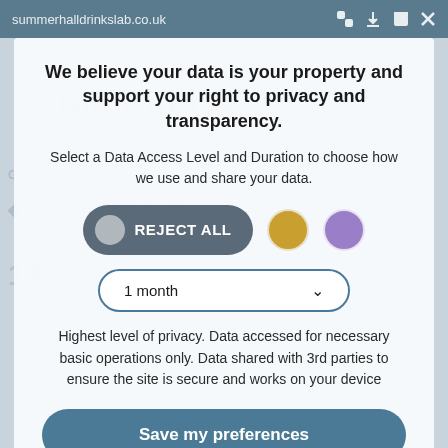summerhalldrinkslab.co.uk
We believe your data is your property and support your right to privacy and transparency.
Select a Data Access Level and Duration to choose how we use and share your data.
[Figure (screenshot): Three toggle/option buttons: 'REJECT ALL' (dark grey pill with grey circle), a gold circle, and a purple circle]
[Figure (screenshot): Dropdown selector showing '1 month' with chevron arrow]
Highest level of privacy. Data accessed for necessary basic operations only. Data shared with 3rd parties to ensure the site is secure and works on your device
Save my preferences
Customize
Privacy policy